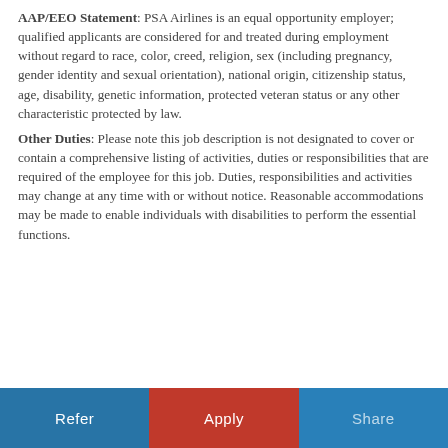AAP/EEO Statement: PSA Airlines is an equal opportunity employer; qualified applicants are considered for and treated during employment without regard to race, color, creed, religion, sex (including pregnancy, gender identity and sexual orientation), national origin, citizenship status, age, disability, genetic information, protected veteran status or any other characteristic protected by law.
Other Duties: Please note this job description is not designated to cover or contain a comprehensive listing of activities, duties or responsibilities that are required of the employee for this job. Duties, responsibilities and activities may change at any time with or without notice. Reasonable accommodations may be made to enable individuals with disabilities to perform the essential functions.
Refer | Apply | Share